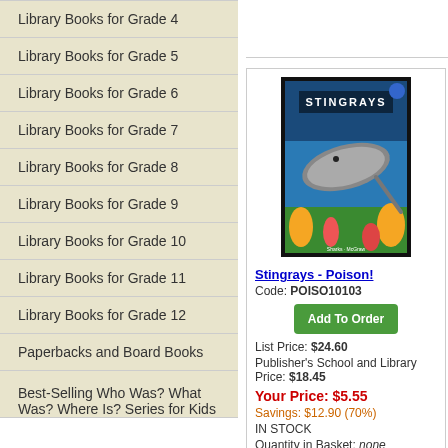Library Books for Grade 4
Library Books for Grade 5
Library Books for Grade 6
Library Books for Grade 7
Library Books for Grade 8
Library Books for Grade 9
Library Books for Grade 10
Library Books for Grade 11
Library Books for Grade 12
Paperbacks and Board Books
Best-Selling Who Was? What Was? Where Is? Series for Kids
[Figure (photo): Book cover of Stingrays - Poison! showing a stingray swimming underwater with coral reef background, dark border, title text STINGRAYS at top]
Stingrays - Poison!
Code: POISO10103
Add To Order
List Price: $24.60
Publisher's School and Library Price: $18.45
Your Price: $5.55
Savings: $12.90 (70%)
IN STOCK
Quantity in Basket: none